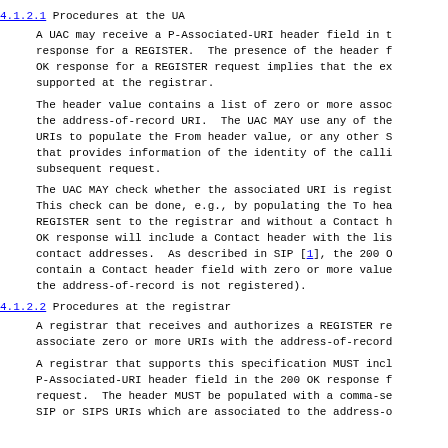4.1.2.1 Procedures at the UA
A UAC may receive a P-Associated-URI header field in t
response for a REGISTER.  The presence of the header f
OK response for a REGISTER request implies that the ex
supported at the registrar.
The header value contains a list of zero or more assoc
the address-of-record URI.  The UAC MAY use any of the
URIs to populate the From header value, or any other S
that provides information of the identity of the calli
subsequent request.
The UAC MAY check whether the associated URI is regist
This check can be done, e.g., by populating the To hea
REGISTER sent to the registrar and without a Contact h
OK response will include a Contact header with the lis
contact addresses.  As described in SIP [1], the 200 O
contain a Contact header field with zero or more value
the address-of-record is not registered).
4.1.2.2 Procedures at the registrar
A registrar that receives and authorizes a REGISTER re
associate zero or more URIs with the address-of-record
A registrar that supports this specification MUST incl
P-Associated-URI header field in the 200 OK response f
request.  The header MUST be populated with a comma-se
SIP or SIPS URIs which are associated to the address-o